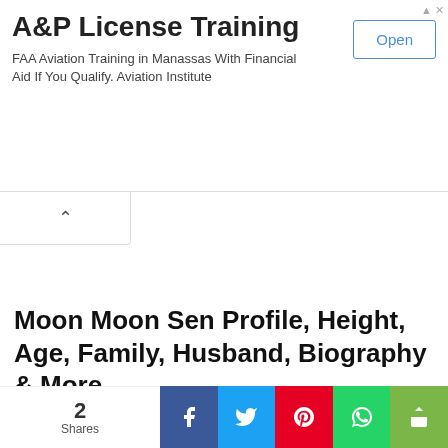[Figure (screenshot): Advertisement banner for A&P License Training - FAA Aviation Training in Manassas with an Open button]
A&P License Training
FAA Aviation Training in Manassas With Financial Aid If You Qualify. Aviation Institute
Moon Moon Sen Profile, Height, Age, Family, Husband, Biography & More
admin   July 3, 2019
Moon Moon Sen Profile, Height, Age, Family, Husband, Affairs, Wiki, Biography & More Moon Moon Sen, also known as Moonmoon Sen, is an Indian actress, known for her films in....